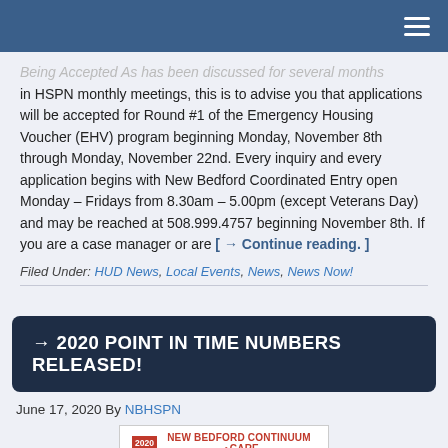[Navigation bar with hamburger menu]
Being Accepted As has been discussed for several months in HSPN monthly meetings, this is to advise you that applications will be accepted for Round #1 of the Emergency Housing Voucher (EHV) program beginning Monday, November 8th through Monday, November 22nd. Every inquiry and every application begins with New Bedford Coordinated Entry open Monday – Fridays from 8.30am – 5.00pm (except Veterans Day) and may be reached at 508.999.4757 beginning November 8th. If you are a case manager or are [ → Continue reading. ]
Filed Under: HUD News, Local Events, News, News Now!
→ 2020 POINT IN TIME NUMBERS RELEASED!
June 17, 2020 By NBHSPN
[Figure (logo): New Bedford Continuum of Care 2020 Point in Time Homeless Count logo with colored buttons: WHAT, WHY, WHO, WHEN, HOW]